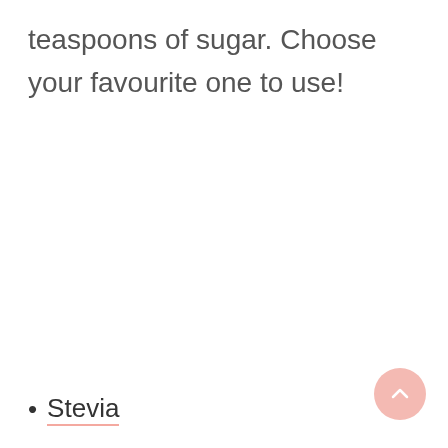teaspoons of sugar. Choose your favourite one to use!
Stevia
[Figure (other): Scroll-to-top button: circular pink/salmon colored button with upward chevron arrow, positioned at bottom right corner]